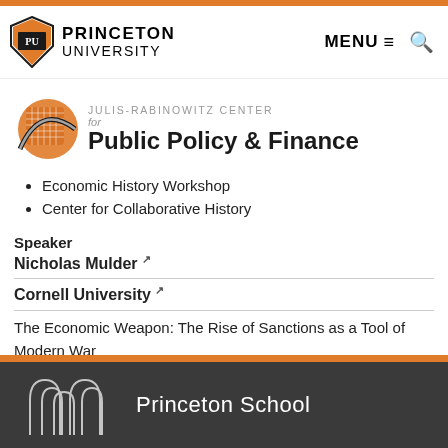[Figure (logo): Princeton University shield logo with orange and black design]
PRINCETON UNIVERSITY  MENU ☰ 🔍
[Figure (logo): Julis-Rabinowitz Center for Public Policy & Finance logo with orange globe graphic]
Economic History Workshop
Center for Collaborative History
Speaker
Nicholas Mulder ↗
Cornell University ↗
The Economic Weapon: The Rise of Sanctions as a Tool of Modern War
Princeton School